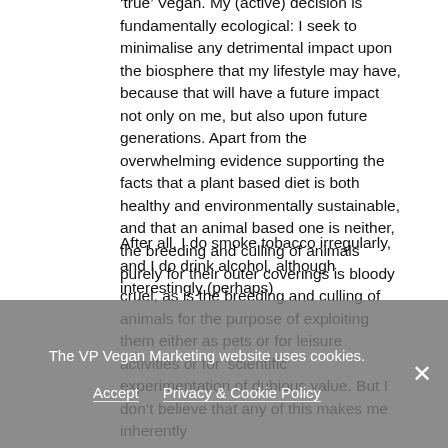'true' Vegan. My (active) decision is fundamentally ecological: I seek to minimalise any detrimental impact upon the biosphere that my lifestyle may have, because that will have a future impact not only on me, but also upon future generations. Apart from the overwhelming evidence supporting the facts that a plant based diet is both healthy and environmentally sustainable, and that an animal based one is neither, the breeding and culling of animals purely for their outer coverings is bloody cruel, as is the breeding and culling of animals for the purpose of exploiting them either as pets or for leisure activities or for 'scientific' experimentation of dubious value. But I don't believe that any of this makes me inherently V...
After all, I do smoke tobacco irregularly, and I do drink alcohol, although interestingly (perhaps)
The VP Vegan Marketing website uses cookies.
Accept   Privacy & Cookie Policy